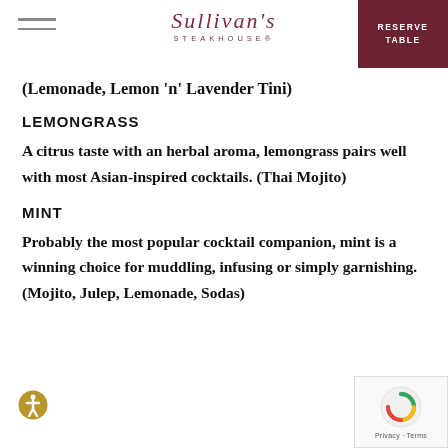SULLIVAN'S STEAKHOUSE® | RESERVE TABLE
(Lemonade, Lemon 'n' Lavender Tini)
LEMONGRASS
A citrus taste with an herbal aroma, lemongrass pairs well with most Asian-inspired cocktails. (Thai Mojito)
MINT
Probably the most popular cocktail companion, mint is a winning choice for muddling, infusing or simply garnishing. (Mojito, Julep, Lemonade, Sodas)